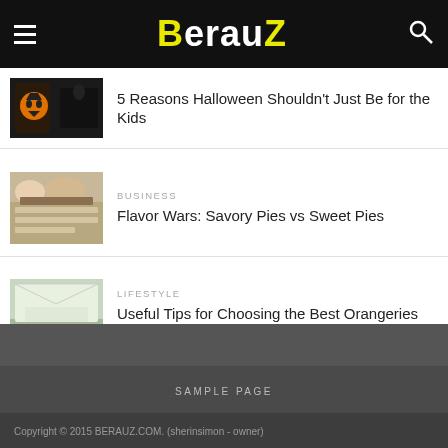BerauZ
5 Reasons Halloween Shouldn't Just Be for the Kids
BUSINESS
Flavor Wars: Savory Pies vs Sweet Pies
LIFESTYLE
Useful Tips for Choosing the Best Orangeries and Conservatories
SAMPLE PAGE
Copyright © 2015 BERAUZ.COM. (sherinsimon - owner)